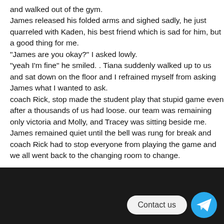and walked out of the gym.
James released his folded arms and sighed sadly, he just quarreled with Kaden, his best friend which is sad for him, but a good thing for me.
"James are you okay?" I asked lowly.
"yeah I'm fine" he smiled. . Tiana suddenly walked up to us and sat down on the floor and I refrained myself from asking James what I wanted to ask.
coach Rick, stop made the student play that stupid game even after a thousands of us had loose. our team was remaining only victoria and Molly, and Tracey was sitting beside me. James remained quiet until the bell was rung for break and coach Rick had to stop everyone from playing the game and we all went back to the changing room to change.
Contact us